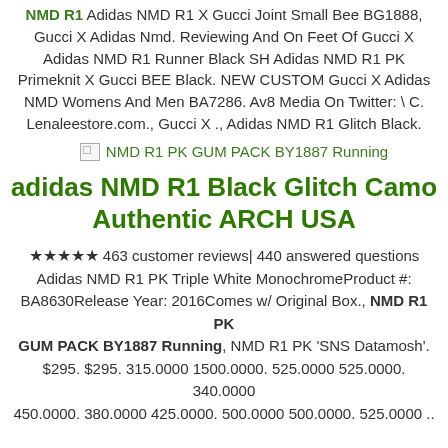NMD R1 Adidas NMD R1 X Gucci Joint Small Bee BG1888, Gucci X Adidas Nmd. Reviewing And On Feet Of Gucci X Adidas NMD R1 Runner Black SH Adidas NMD R1 PK Primeknit X Gucci BEE Black. NEW CUSTOM Gucci X Adidas NMD Womens And Men BA7286. Av8 Media On Twitter: \ C. Lenaleestore.com., Gucci X ., Adidas NMD R1 Glitch Black.
[Figure (photo): Broken image placeholder linking to NMD R1 PK GUM PACK BY1887 Running]
adidas NMD R1 Black Glitch Camo Authentic ARCH USA
★★★★★ 463 customer reviews| 440 answered questions Adidas NMD R1 PK Triple White MonochromeProduct #: BA8630Release Year: 2016Comes w/ Original Box., NMD R1 PK GUM PACK BY1887 Running, NMD R1 PK 'SNS Datamosh'. $295. $295. 315.0000 1500.0000. 525.0000 525.0000. 340.0000 450.0000. 380.0000 425.0000. 500.0000 500.0000. 525.0000 ..